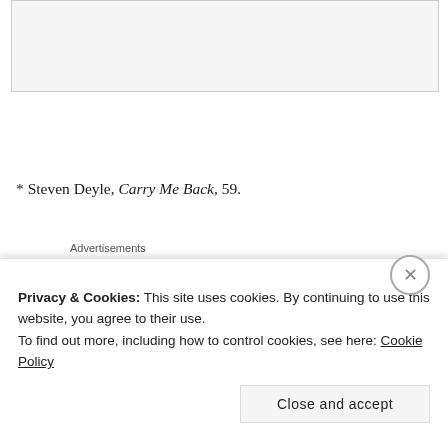[Figure (other): Placeholder image area at top of page, light gray box with border]
* Steven Deyle, Carry Me Back, 59.
Advertisements
[Figure (illustration): Advertisement image showing two overlapping circles — one green on the left and one blue on the right — with a white/light overlap region in the center, on a dark blue background.]
Privacy & Cookies: This site uses cookies. By continuing to use this website, you agree to their use.
To find out more, including how to control cookies, see here: Cookie Policy
Close and accept